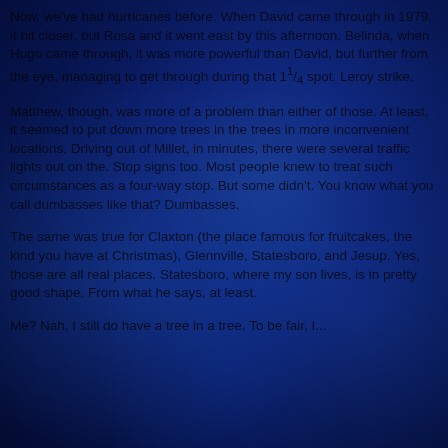Now, we've had hurricanes before. When David came through in 1979, it hit closer, but Rosa and it went east by this afternoon. Belinda, when Hugo came through, it was more powerful than David, but further from the eye, managing to get through during that 11⁄4 spot. Leroy strike.
Matthew, though, was more of a problem than either of those. At least, it seemed to put down more trees in the trees in more inconvenient locations. Driving out of Millet, in minutes, there were several traffic lights out on the. Stop signs too. Most people knew to treat such circumstances as a four-way stop. But some didn't. You know what you call dumbasses like that? Dumbasses.
The same was true for Claxton (the place famous for fruitcakes, the kind you have at Christmas), Glennville, Statesboro, and Jesup. Yes, those are all real places. Statesboro, where my son lives, is in pretty good shape. From what he says, at least.
Me? Nah. I still do have a tree in a tree. To be fair, I...